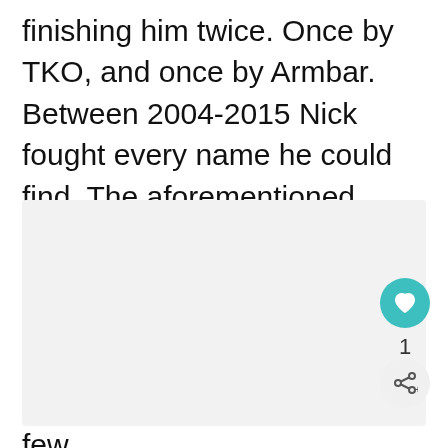finishing him twice. Once by TKO, and once by Armbar. Between 2004-2015 Nick fought every name he could find. The aforementioned Silva, GSP and Gomi. Carlos Condit, B.J Penn, Paul Daley, Frank Shamrock, Robbie Lawler, Sean Sherk and Diego Sanchez to name a few.
[Figure (other): Gray placeholder image area below the text block]